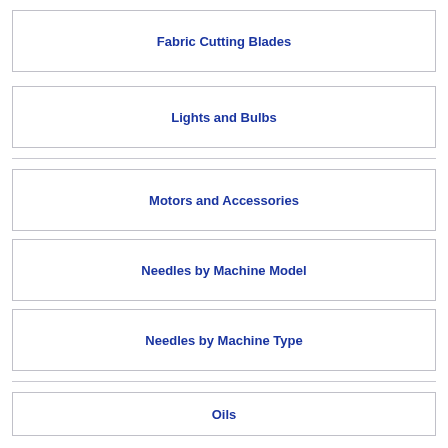Fabric Cutting Blades
Lights and Bulbs
Motors and Accessories
Needles by Machine Model
Needles by Machine Type
Oils